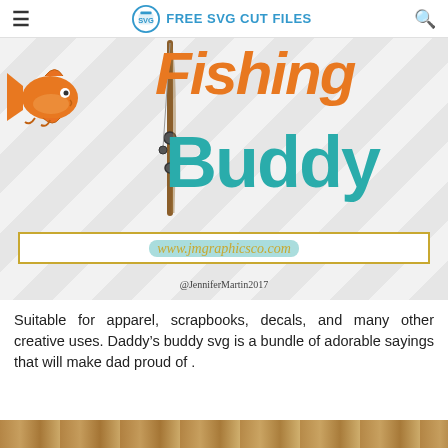FREE SVG CUT FILES
[Figure (illustration): Fishing Buddy SVG design showing an orange fish clipart, a fishing rod, large orange 'FISHING' text and teal 'Buddy' text on a diagonal striped background, with a gold-bordered box showing www.jmgraphicsco.com and copyright @JenniferMartin2017]
Suitable for apparel, scrapbooks, decals, and many other creative uses. Daddy’s buddy svg is a bundle of adorable sayings that will make dad proud of .
[Figure (photo): Bottom strip showing a partial photo/image at the bottom of the page]